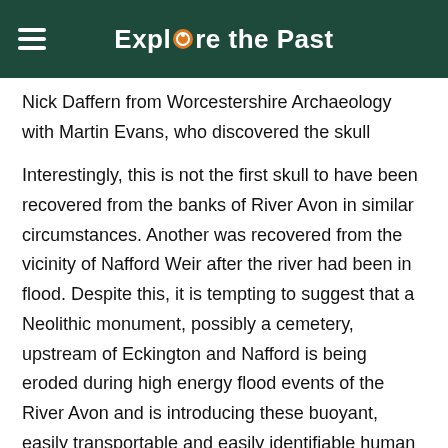Explore the Past
Nick Daffern from Worcestershire Archaeology with Martin Evans, who discovered the skull
Interestingly, this is not the first skull to have been recovered from the banks of River Avon in similar circumstances. Another was recovered from the vicinity of Nafford Weir after the river had been in flood. Despite this, it is tempting to suggest that a Neolithic monument, possibly a cemetery, upstream of Eckington and Nafford is being eroded during high energy flood events of the River Avon and is introducing these buoyant, easily transportable and easily identifiable human remains into the water course.”
Once the Archaeology Service have completed